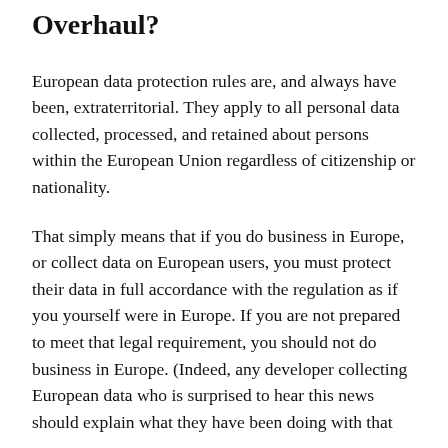Overhaul?
European data protection rules are, and always have been, extraterritorial. They apply to all personal data collected, processed, and retained about persons within the European Union regardless of citizenship or nationality.
That simply means that if you do business in Europe, or collect data on European users, you must protect their data in full accordance with the regulation as if you yourself were in Europe. If you are not prepared to meet that legal requirement, you should not do business in Europe. (Indeed, any developer collecting European data who is surprised to hear this news should explain what they have been doing with that